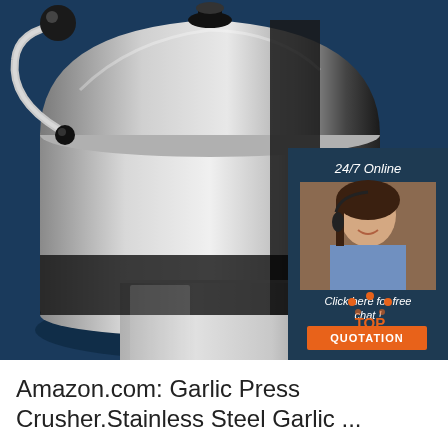[Figure (photo): Product photo of a stainless steel garlic press/crusher on a dark blue background, with a customer service chat overlay box in the top-right showing '24/7 Online' text, a woman with a headset, 'Click here for free chat!' text, and an orange 'QUOTATION' button. A 'TOP' badge with orange dots appears at the bottom right.]
Amazon.com: Garlic Press Crusher.Stainless Steel Garlic ...